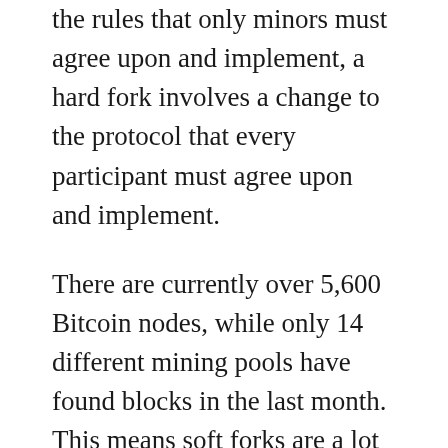the rules that only minors must agree upon and implement, a hard fork involves a change to the protocol that every participant must agree upon and implement.
There are currently over 5,600 Bitcoin nodes, while only 14 different mining pools have found blocks in the last month. This means soft forks are a lot easier to implement, 400x easier in terms of a rather simplistic count of the number of installations that need their software upgraded.
It's not quite that simple though, consensus is a lot more fuzzy and complicated. In my next article I will talk more about hard forks, which open up a whole new jumble of exciting...